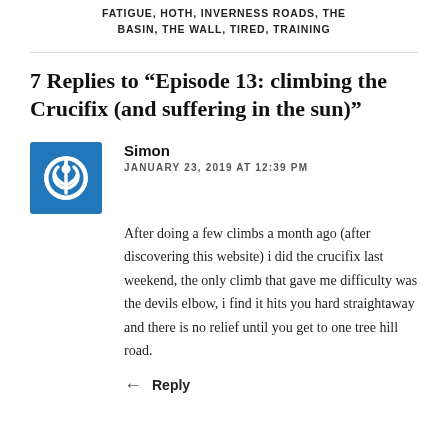FATIGUE, HOTH, INVERNESS ROADS, THE BASIN, THE WALL, TIRED, TRAINING
7 Replies to “Episode 13: climbing the Crucifix (and suffering in the sun)”
Simon
JANUARY 23, 2019 AT 12:39 PM
After doing a few climbs a month ago (after discovering this website) i did the crucifix last weekend, the only climb that gave me difficulty was the devils elbow, i find it hits you hard straightaway and there is no relief until you get to one tree hill road.
Reply